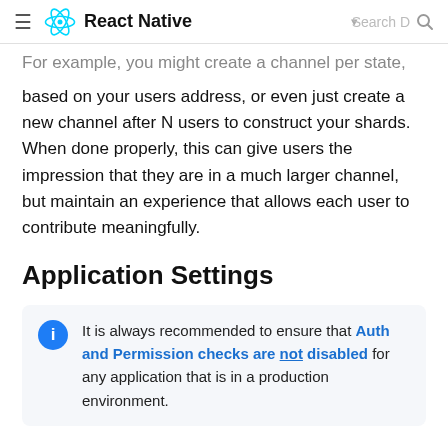React Native
For example, you might create a channel per state, based on your users address, or even just create a new channel after N users to construct your shards. When done properly, this can give users the impression that they are in a much larger channel, but maintain an experience that allows each user to contribute meaningfully.
Application Settings
It is always recommended to ensure that Auth and Permission checks are not disabled for any application that is in a production environment.
It is common for guest or anonymous users to be